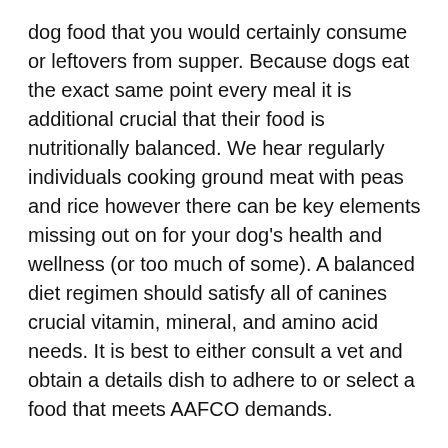dog food that you would certainly consume or leftovers from supper. Because dogs eat the exact same point every meal it is additional crucial that their food is nutritionally balanced. We hear regularly individuals cooking ground meat with peas and rice however there can be key elements missing out on for your dog's health and wellness (or too much of some). A balanced diet regimen should satisfy all of canines crucial vitamin, mineral, and amino acid needs. It is best to either consult a vet and obtain a details dish to adhere to or select a food that meets AAFCO demands.